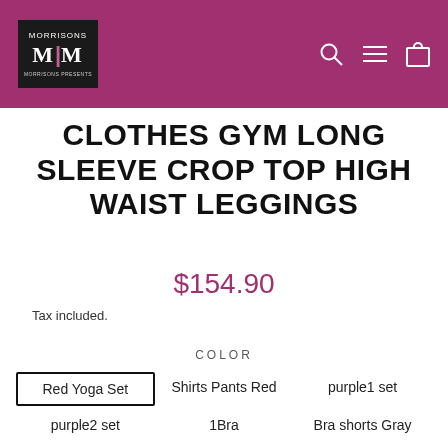M|M logo and navigation icons
CLOTHES GYM LONG SLEEVE CROP TOP HIGH WAIST LEGGINGS
$154.90
Tax included.
COLOR
Red Yoga Set
Shirts Pants Red
purple1 set
purple2 set
1Bra
Bra shorts Gray
purple set
Bra shorts Green
Shirts Pants Green
green set
black set
Shirts Pants Gray